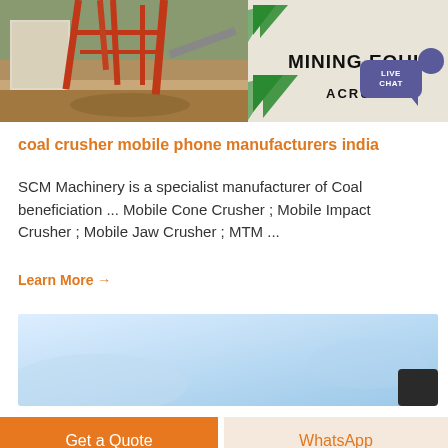[Figure (photo): Industrial mining equipment facility photo on left; Mining Equipment ACRUSHER sign on right with green diagonal stripes and a LIVE CHAT speech bubble overlay]
coal crusher mobile phone manufacturers india
SCM Machinery is a specialist manufacturer of Coal beneficiation ... Mobile Cone Crusher ; Mobile Impact Crusher ; Mobile Jaw Crusher ; MTM ...
Learn More →
[Figure (photo): Light blue gradient background image (second product image, partially visible)]
Get a Quote
WhatsApp